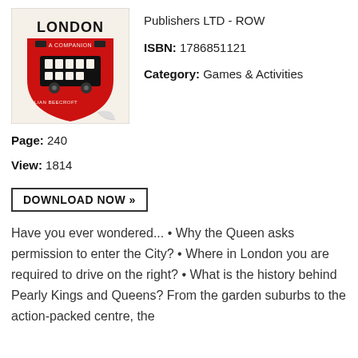[Figure (illustration): Book cover of 'London: A Companion' by Julian Beecroft, featuring a red shield shape with a double-decker bus illustration]
Publishers LTD - ROW
ISBN: 1786851121
Category: Games & Activities
Page: 240
View: 1814
DOWNLOAD NOW »
Have you ever wondered... • Why the Queen asks permission to enter the City? • Where in London you are required to drive on the right? • What is the history behind Pearly Kings and Queens? From the garden suburbs to the action-packed centre, the